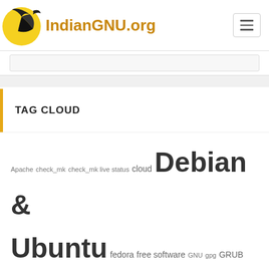IndianGNU.org
TAG CLOUD
Apache check_mk check_mk live status cloud Debian & Ubuntu fedora free software GNU gpg GRUB Boot loader INDIA IndianGNU indianGNU.org isro Kernel Kernel-based Virtual Machine (KVM) Linux Linux Networking monitoring Mozilla Thunderbird Mu-conference MySQL Database nagios netapp netapp storage openLSM open source Oracle Database PERL ram as disk Ravi Bhure redhat